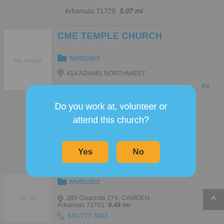Arkansas 71726  5.07 mi
CME TEMPLE CHURCH
Methodist
414 ADAMS NORTHWEST
[Figure (screenshot): Modal dialog overlay asking 'Do you work at, volunteer or attend this church?' with Yes and No buttons]
Methodist
285 Ouachita 174, CAMDEN, Arkansas 71701  6.45 mi
870-777-3093